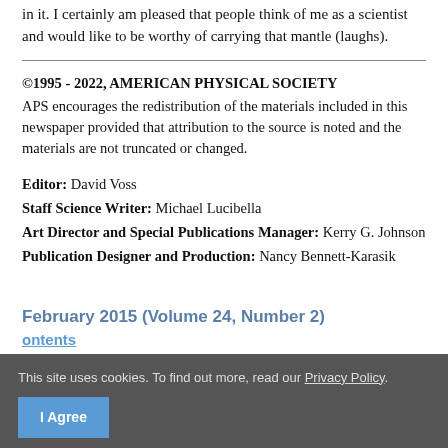in it. I certainly am pleased that people think of me as a scientist and would like to be worthy of carrying that mantle (laughs).
©1995 - 2022, AMERICAN PHYSICAL SOCIETY
APS encourages the redistribution of the materials included in this newspaper provided that attribution to the source is noted and the materials are not truncated or changed.
Editor: David Voss
Staff Science Writer: Michael Lucibella
Art Director and Special Publications Manager: Kerry G. Johnson
Publication Designer and Production: Nancy Bennett-Karasik
February 2015 (Volume 24, Number 2)
Contents
This site uses cookies. To find out more, read our Privacy Policy.
I Agree